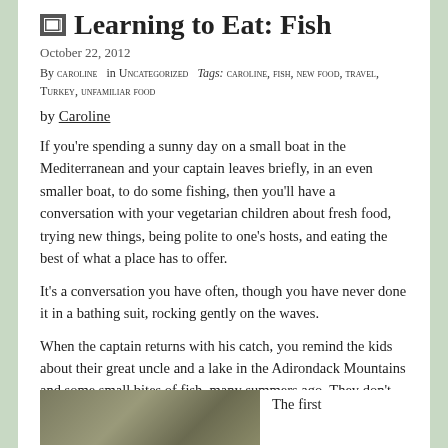Learning to Eat: Fish
October 22, 2012
By CAROLINE in UNCATEGORIZED Tags: CAROLINE, FISH, NEW FOOD, TRAVEL, TURKEY, UNFAMILIAR FOOD
by Caroline
If you're spending a sunny day on a small boat in the Mediterranean and your captain leaves briefly, in an even smaller boat, to do some fishing, then you'll have a conversation with your vegetarian children about fresh food, trying new things, being polite to one's hosts, and eating the best of what a place has to offer.
It's a conversation you have often, though you have never done it in a bathing suit, rocking gently on the waves.
When the captain returns with his catch, you remind the kids about their great uncle and a lake in the Adirondack Mountains and some small bites of fish, many summers ago. They don't quite remember, but they believe you. One boy looks away while the captain prepares the fish but the other watches closely:
[Figure (photo): Photo of fish being prepared on boat]
The first